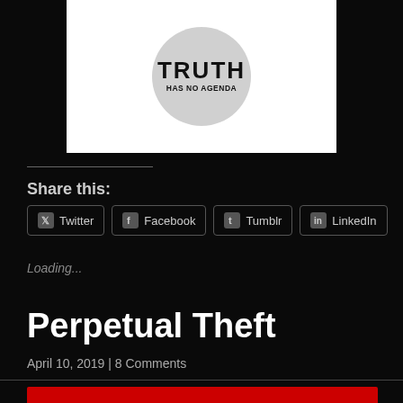[Figure (logo): White rectangular area containing a circular logo with 'TRUTH HAS NO AGENDA' text in bold black letters on a gray circle background. Partial view as image is cropped at top.]
Share this:
Twitter  Facebook  Tumblr  LinkedIn
Loading...
Perpetual Theft
April 10, 2019 | 8 Comments
[Figure (other): Bottom edge of a dark red/crimson rectangular bar, partially visible at bottom of page.]